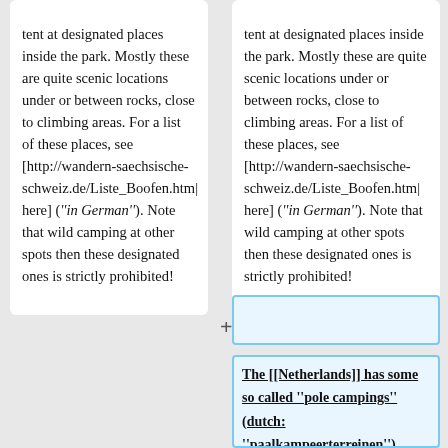tent at designated places inside the park. Mostly these are quite scenic locations under or between rocks, close to climbing areas. For a list of these places, see [http://wandern-saechsische-schweiz.de/Liste_Boofen.htm| here] ('''in German'''). Note that wild camping at other spots then these designated ones is strictly prohibited!
tent at designated places inside the park. Mostly these are quite scenic locations under or between rocks, close to climbing areas. For a list of these places, see [http://wandern-saechsische-schweiz.de/Liste_Boofen.htm| here] ('''in German'''). Note that wild camping at other spots then these designated ones is strictly prohibited!
The [[Netherlands]] has some so called ''pole campings'' (dutch: ''paalkampeerterreinen''), where you can camp for free. These places are nothing more